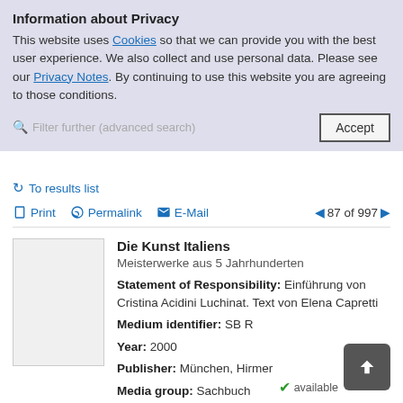Information about Privacy
This website uses Cookies so that we can provide you with the best user experience. We also collect and use personal data. Please see our Privacy Notes. By continuing to use this website you are agreeing to those conditions.
Filter further (advanced search)
Accept
To results list
Print   Permalink   E-Mail   87 of 997
Die Kunst Italiens
Meisterwerke aus 5 Jahrhunderten
Statement of Responsibility: Einführung von Cristina Acidini Luchinat. Text von Elena Capretti
Medium identifier: SB R
Year: 2000
Publisher: München, Hirmer
Media group: Sachbuch
available